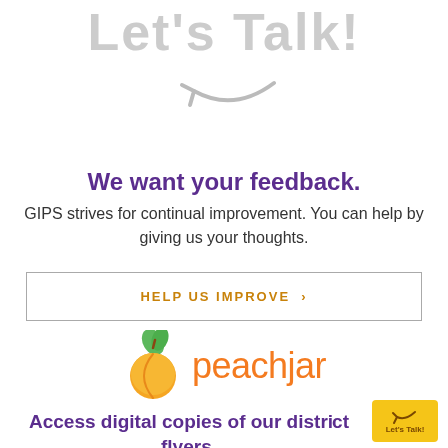[Figure (illustration): Large gray decorative text reading 'Let's Talk!' with a gray curved arrow beneath it]
We want your feedback.
GIPS strives for continual improvement. You can help by giving us your thoughts.
HELP US IMPROVE ›
[Figure (logo): Peachjar logo: peach fruit icon with green leaves and orange wordmark 'peachjar']
Access digital copies of our district flyers.